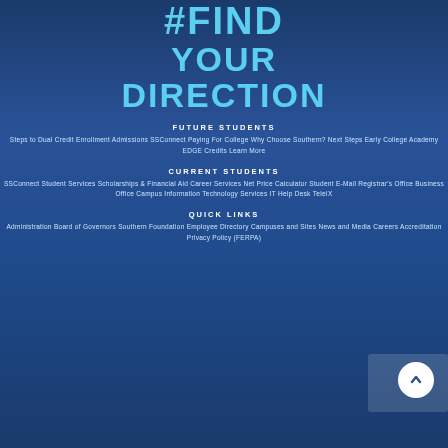#FIND YOUR DIRECTION
FUTURE STUDENTS
Steps to Dual Credit Enrollment
Admissions
SSConnect
Paying For College
Why Choose Southern?
Next Steps
Early College Academy
EDGE Credits
Learn More
CURRENT STUDENTS
SSConnect
Student Services
Scholarships & Financial Aid
Career Services
Net Price Calculator
Student E-Mail
Registrar's Office
Business Office
Campus Information
Technology Services
IT Help Desk
TeleIX
QUICK LINKS
Administration
Board of Governors
Southern Foundation
Employee Directory
Campuses and Sites
News and Media
Careers
Accreditation
Privacy Policy (FERPA)